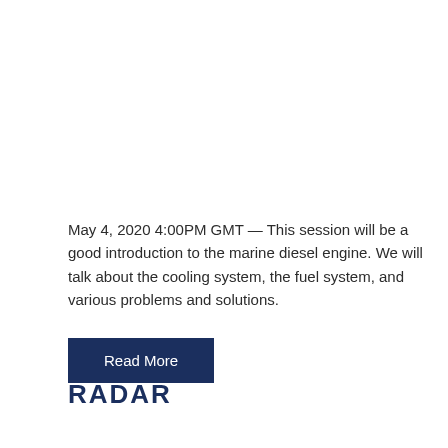May 4, 2020 4:00PM GMT — This session will be a good introduction to the marine diesel engine. We will talk about the cooling system, the fuel system, and various problems and solutions.
Read More
RADAR